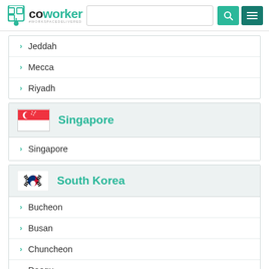coworker #WORKSPACEDELIVERED
Jeddah
Mecca
Riyadh
Singapore
Singapore
South Korea
Bucheon
Busan
Chuncheon
Daegu